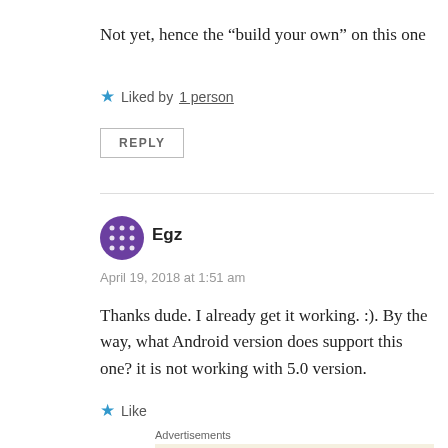Not yet, hence the “build your own” on this one
Liked by 1 person
REPLY
Egz
April 19, 2018 at 1:51 am
Thanks dude. I already get it working. :). By the way, what Android version does support this one? it is not working with 5.0 version.
Like
Advertisements
Professionally designed sites in less than a week